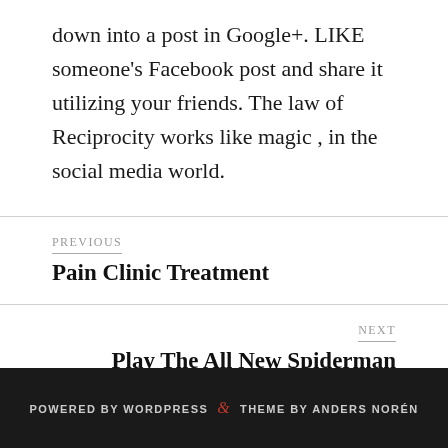down into a post in Google+. LIKE someone's Facebook post and share it utilizing your friends. The law of Reciprocity works like magic , in the social media world.
PREVIOUS
Pain Clinic Treatment
NEXT
Play The All New Spiderman Video Slot Game
POWERED BY WORDPRESS & THEME BY ANDERS NORÉN